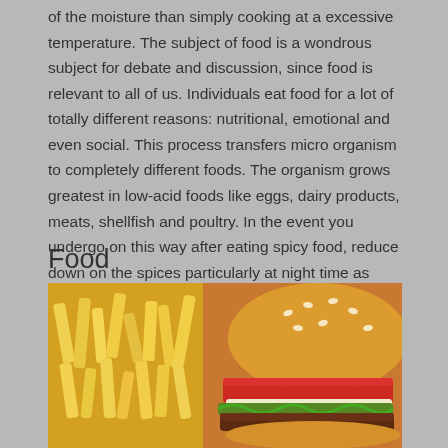of the moisture than simply cooking at a excessive temperature. The subject of food is a wondrous subject for debate and discussion, since food is relevant to all of us. Individuals eat food for a lot of totally different reasons: nutritional, emotional and even social. This process transfers micro organism to completely different foods. The organism grows greatest in low-acid foods like eggs, dairy products, meats, shellfish and poultry. In the event you undergo on this way after eating spicy food, reduce down on the spices particularly at night time as acid reflux also can erode the tooth.
Food
[Figure (photo): Photo of fast food: french fries on the left side and a burger with sesame seed bun, tomato slice, lettuce, and meat patty on the right side, taken close up.]